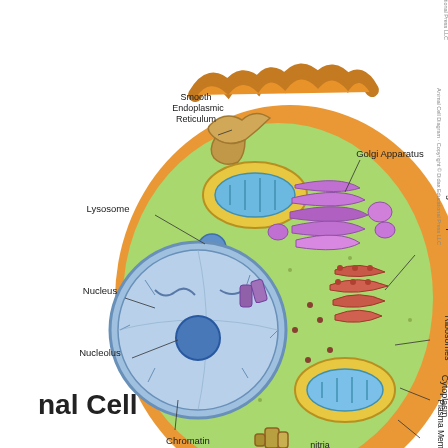[Figure (illustration): Labeled diagram of an Animal Cell (partially cropped) showing organelles including: Lysosome, Smooth Endoplasmic Reticulum, Nucleus, Nucleolus, Chromatin, Golgi Apparatus, Rough Endoplasmic Reticulum, Ribosomes, Cytoplasm, Plasma Membrane, Mitochondria. Title text 'nal Cell' visible at bottom left (partially cropped, full title is 'Animal Cell'). The cell is illustrated in cross-section with colorful organelles on a green cytoplasm background, surrounded by an orange plasma membrane.]